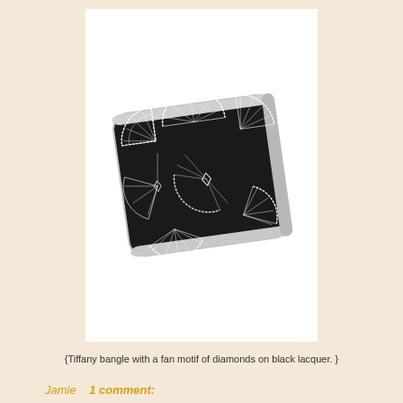[Figure (photo): Tiffany bangle bracelet with a fan motif pattern of diamonds on black lacquer, photographed at an angle showing the wide cuff design with Art Deco geometric pattern]
{Tiffany bangle with a fan motif of diamonds on black lacquer. }
Jamie   1 comment: